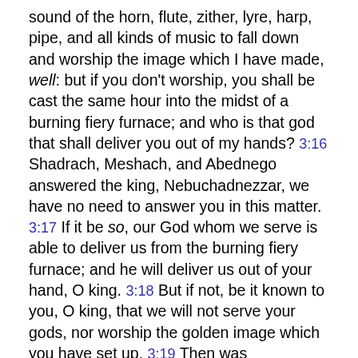sound of the horn, flute, zither, lyre, harp, pipe, and all kinds of music to fall down and worship the image which I have made, well: but if you don't worship, you shall be cast the same hour into the midst of a burning fiery furnace; and who is that god that shall deliver you out of my hands? 3:16 Shadrach, Meshach, and Abednego answered the king, Nebuchadnezzar, we have no need to answer you in this matter. 3:17 If it be so, our God whom we serve is able to deliver us from the burning fiery furnace; and he will deliver us out of your hand, O king. 3:18 But if not, be it known to you, O king, that we will not serve your gods, nor worship the golden image which you have set up. 3:19 Then was Nebuchadnezzar full of fury, and the form of his appearance was changed against Shadrach, Meshach, and Abednego: therefore he spoke, and commanded that they should heat the furnace seven times more than it was usually heated. 3:20 He commanded certain mighty men who were in his army to bind Shadrach, Meshach, and Abednego, and to cast them into the burning fiery furnace. 3:21 Then these men were bound in their pants, their tunics, and their mantles, and their other garments, and were cast into the midst of the burning fiery furnace. 3:22 Therefore because the king's commandment was urgent, and the furnace exceeding hot, the flame of the fire killed those men who